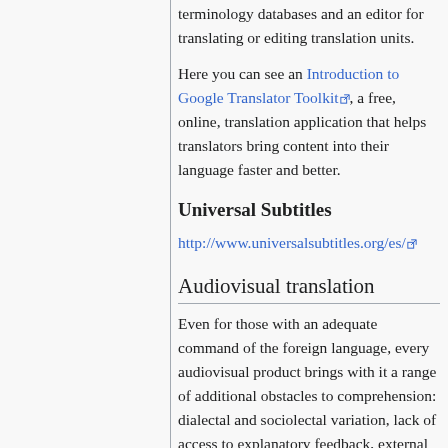terminology databases and an editor for translating or editing translation units.
Here you can see an Introduction to Google Translator Toolkit, a free, online, translation application that helps translators bring content into their language faster and better.
Universal Subtitles
http://www.universalsubtitles.org/es/
Audiovisual translation
Even for those with an adequate command of the foreign language, every audiovisual product brings with it a range of additional obstacles to comprehension: dialectal and sociolectal variation, lack of access to explanatory feedback, external and environmental